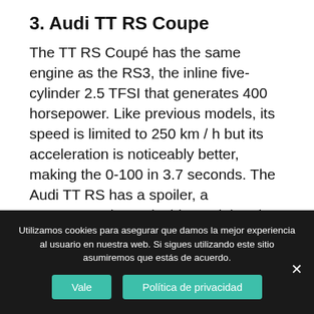3. Audi TT RS Coupe
The TT RS Coupé has the same engine as the RS3, the inline five-cylinder 2.5 TFSI that generates 400 horsepower. Like previous models, its speed is limited to 250 km / h but its acceleration is noticeably better, making the 0-100 in 3.7 seconds. The Audi TT RS has a spoiler, a component that only this model and
Utilizamos cookies para asegurar que damos la mejor experiencia al usuario en nuestra web. Si sigues utilizando este sitio asumiremos que estás de acuerdo.
Vale
Política de privacidad